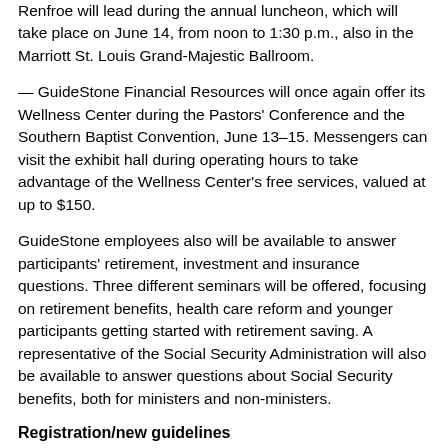Renfroe will lead during the annual luncheon, which will take place on June 14, from noon to 1:30 p.m., also in the Marriott St. Louis Grand-Majestic Ballroom.
— GuideStone Financial Resources will once again offer its Wellness Center during the Pastors' Conference and the Southern Baptist Convention, June 13–15. Messengers can visit the exhibit hall during operating hours to take advantage of the Wellness Center's free services, valued at up to $150.
GuideStone employees also will be available to answer participants' retirement, investment and insurance questions. Three different seminars will be offered, focusing on retirement benefits, health care reform and younger participants getting started with retirement saving. A representative of the Social Security Administration will also be available to answer questions about Social Security benefits, both for ministers and non-ministers.
Registration/new guidelines
Registration guidelines and new questions[8] about the...